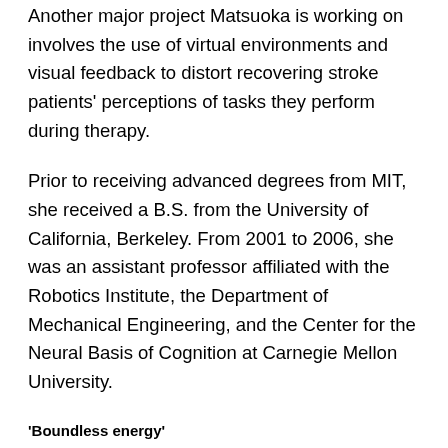Another major project Matsuoka is working on involves the use of virtual environments and visual feedback to distort recovering stroke patients' perceptions of tasks they perform during therapy.
Prior to receiving advanced degrees from MIT, she received a B.S. from the University of California, Berkeley. From 2001 to 2006, she was an assistant professor affiliated with the Robotics Institute, the Department of Mechanical Engineering, and the Center for the Neural Basis of Cognition at Carnegie Mellon University.
'Boundless energy'
According to the foundation, Griffith, 33, shares his "boundless energy" for inventing across several